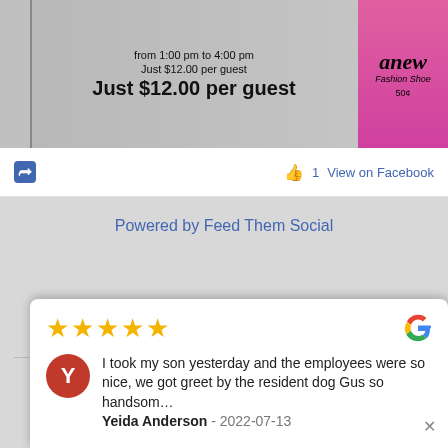[Figure (screenshot): Top portion of a webpage showing a promotional image with text 'from 1:00 pm to 4:00 pm Just $12.00 per guest' and bold 'Just $12.00 per guest', alongside a pink Anew fashion product bottle.]
1  View on Facebook
Powered by Feed Them Social
Copyright 2022 Wheels Museum
1100 2nd St SW Albuquerque NM 87102
★★★★★  I took my son yesterday and the employees were so nice, we got greet by the resident dog Gus so handsom...  Yeida Anderson - 2022-07-13